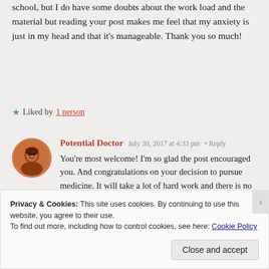school, but I do have some doubts about the work load and the material but reading your post makes me feel that my anxiety is just in my head and that it's manageable. Thank you so much!
★ Liked by 1 person
Potential Doctor  July 30, 2017 at 4:33 pm · Reply
You're most welcome! I'm so glad the post encouraged you. And congratulations on your decision to pursue medicine. It will take a lot of hard work and there is no doubt that it is
Privacy & Cookies: This site uses cookies. By continuing to use this website, you agree to their use.
To find out more, including how to control cookies, see here: Cookie Policy
Close and accept